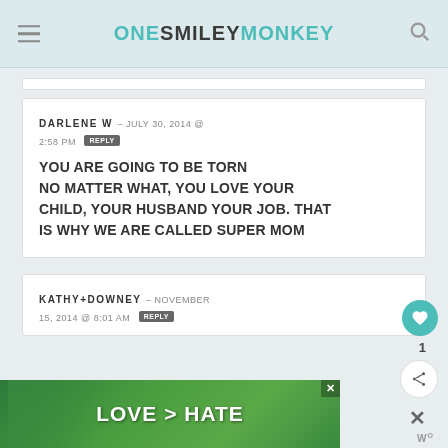ONE SMILEY MONKEY
DARLENE W – JULY 30, 2014 @ 2:58 PM REPLY
YOU ARE GOING TO BE TORN NO MATTER WHAT, YOU LOVE YOUR CHILD, YOUR HUSBAND YOUR JOB. THAT IS WHY WE ARE CALLED SUPER MOM
KATHY+DOWNEY – NOVEMBER 15, 2014 @ 8:01 AM REPLY
[Figure (photo): Advertisement banner with hands forming a heart shape, text reads LOVE > HATE]